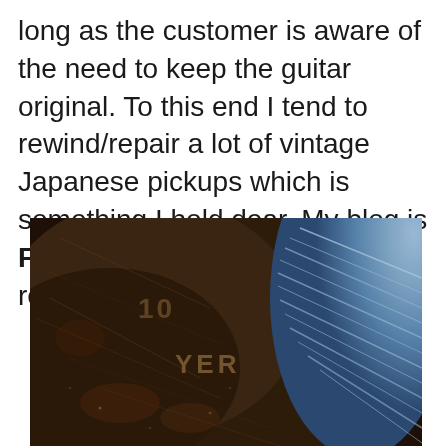long as the customer is aware of the need to keep the guitar original. To this end I tend to rewind/repair a lot of vintage Japanese pickups which is something I hold dear. My blog is FULL of vintage Japanese rewinds if you're interested.
[Figure (photo): Close-up photograph of a vintage guitar pickup or component showing scratched dark wood/material surface with letters 'O YER' (partial text) etched or stamped into it, with blue-tinted metallic wire winding visible on the right side.]